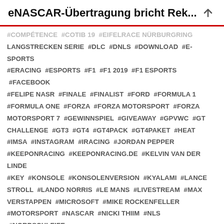eNASCAR-Übertragung bricht Rek...
#COMPÉTENCE #COTIB19 #EIFELRACE NÜRBURGRING LANGSTRECKEN SERIE #DLC #DNLS #DOWNLOAD #E-SPORTS #ERACING #ESPORTS #F1 #F1 2019 #F1 ESPORTS #FACEBOOK #FELIPE NASR #FINALE #FINALIST #FORD #FORMULA 1 #FORMULA ONE #FORZA #FORZA MOTORSPORT #FORZA MOTORSPORT 7 #GEWINNSPIEL #GIVEAWAY #GPVWC #GT CHALLENGE #GT3 #GT4 #GT4PACK #GT4PAKET #HEAT #IMSA #INSTAGRAM #IRACING #JORDAN PEPPER #KEEPONRACING #KEEPONRACING.DE #KELVIN VAN DER LINDE #KEY #KONSOLE #KONSOLENVERSION #KYALAMI #LANCE STROLL #LANDO NORRIS #LE MANS #LIVESTREAM #MAX VERSTAPPEN #MICROSOFT #MIKE ROCKENFELLER #MOTORSPORT #NASCAR #NICKI THIIM #NLS #NORDSCHLEIFE #PC #PHILIPP ENG #PLATFORM #PLAYSTATION 4 #PORSCHE MOBIL 1 SUPERCUP VIRTUAL EDITION #PRO TEAMS #PS4 #RACING #RACING GAME #RACING SIMULATION #REDLINE MOTORSPORT #RENE RAST #RENNSIMULATION #RENNSPIEL #RF2 #RFACTOR #RFACTOR 2 #SAN MARINO #SCHEDULE #SEBRING #SIMRACING #SIMULATION #SONY #SRO #STEAM KEY #STOFFEL VANDOORNE #SUPER SATURDAY #SUPERCUP